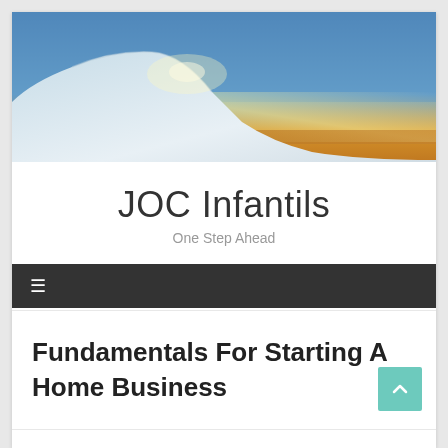[Figure (photo): Landscape photo of snowy hillside with dramatic sunset sky in shades of blue, orange, and yellow]
JOC Infantils
One Step Ahead
☰
Fundamentals For Starting A Home Business